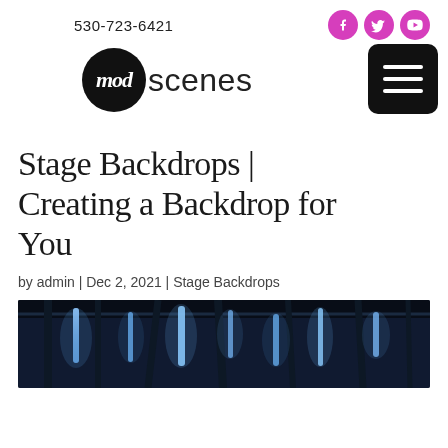530-723-6421
[Figure (logo): ModScenes logo: black circle with cursive 'mod' text followed by 'scenes' in sans-serif]
Stage Backdrops | Creating a Backdrop for You
by admin | Dec 2, 2021 | Stage Backdrops
[Figure (photo): Dark stage with blue/white hanging light tubes against ceiling rigging]